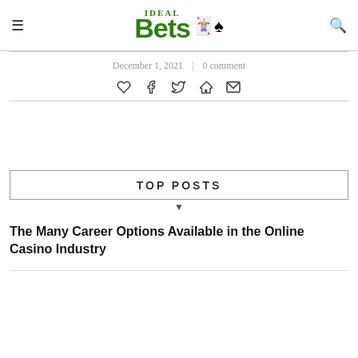Ideal Bets
December 1, 2021 | 0 comment
[Figure (infographic): Social share icons: heart, facebook, twitter, pinterest, email]
TOP POSTS
The Many Career Options Available in the Online Casino Industry